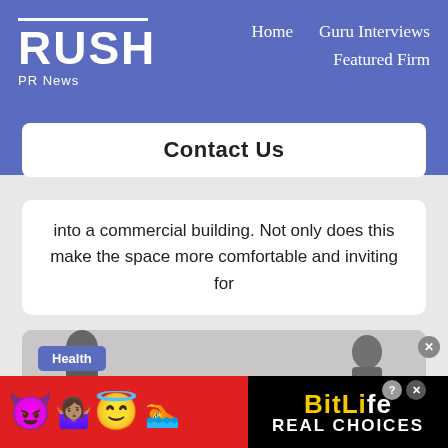RUSH PR News — Home | Guru Interviews | Featured Firm
RUSH
PR News
Contact Us
into a commercial building. Not only does this make the space more comfortable and inviting for
[Figure (photo): Photo card with Health badge showing two people seated in an interior space]
[Figure (infographic): BitLife advertisement banner with emojis, red background, and 'REAL CHOICES' text]